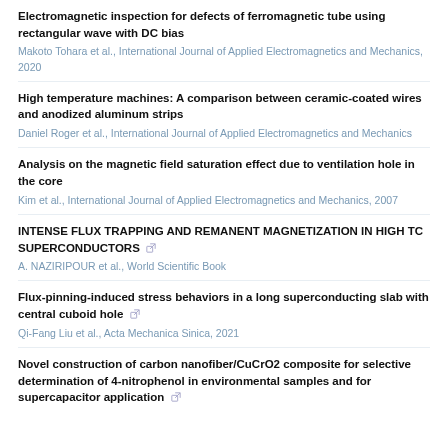Electromagnetic inspection for defects of ferromagnetic tube using rectangular wave with DC bias
Makoto Tohara et al., International Journal of Applied Electromagnetics and Mechanics, 2020
High temperature machines: A comparison between ceramic-coated wires and anodized aluminum strips
Daniel Roger et al., International Journal of Applied Electromagnetics and Mechanics
Analysis on the magnetic field saturation effect due to ventilation hole in the core
Kim et al., International Journal of Applied Electromagnetics and Mechanics, 2007
INTENSE FLUX TRAPPING AND REMANENT MAGNETIZATION IN HIGH TC SUPERCONDUCTORS
A. NAZIRIPOUR et al., World Scientific Book
Flux-pinning-induced stress behaviors in a long superconducting slab with central cuboid hole
Qi-Fang Liu et al., Acta Mechanica Sinica, 2021
Novel construction of carbon nanofiber/CuCrO2 composite for selective determination of 4-nitrophenol in environmental samples and for supercapacitor application